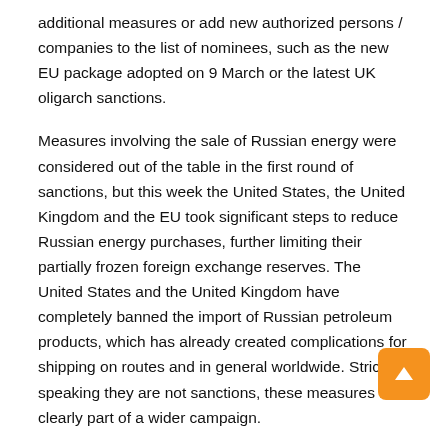additional measures or add new authorized persons / companies to the list of nominees, such as the new EU package adopted on 9 March or the latest UK oligarch sanctions.
Measures involving the sale of Russian energy were considered out of the table in the first round of sanctions, but this week the United States, the United Kingdom and the EU took significant steps to reduce Russian energy purchases, further limiting their partially frozen foreign exchange reserves. The United States and the United Kingdom have completely banned the import of Russian petroleum products, which has already created complications for shipping on routes and in general worldwide. Strictly speaking they are not sanctions, these measures are clearly part of a wider campaign.